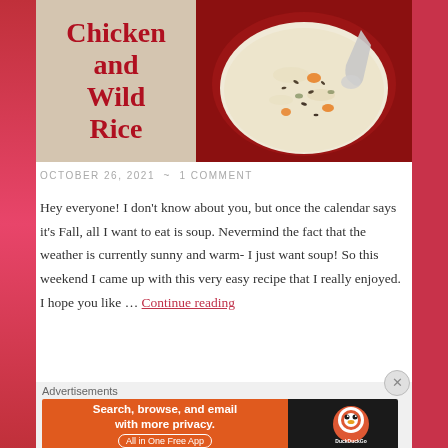[Figure (photo): Blog post hero image split in two halves: left half shows text 'Chicken and Wild Rice' in red script on wooden background; right half shows a red bowl of creamy chicken and wild rice soup with a spoon, viewed from above.]
OCTOBER 26, 2021 ~ 1 COMMENT
Hey everyone! I don't know about you, but once the calendar says it's Fall, all I want to eat is soup. Nevermind the fact that the weather is currently sunny and warm- I just want soup! So this weekend I came up with this very easy recipe that I really enjoyed. I hope you like … Continue reading
Advertisements
[Figure (screenshot): DuckDuckGo advertisement banner: orange left half reading 'Search, browse, and email with more privacy. All in One Free App'; dark right half with DuckDuckGo logo.]